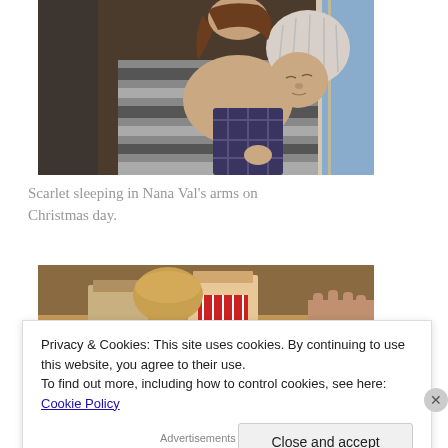[Figure (photo): A woman in a striped sweater holding a sleeping baby wearing a knit hat, photographed indoors.]
Scarlet sleeping in Nana Val's arms on Christmas day.
[Figure (photo): A child looking into open boxes or gifts, partially visible, indoor holiday scene.]
Privacy & Cookies: This site uses cookies. By continuing to use this website, you agree to their use.
To find out more, including how to control cookies, see here: Cookie Policy
Close and accept
Advertisements